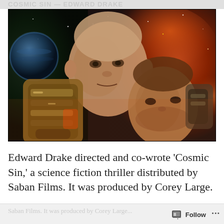COSMIC SIN — EDWARD DRAKE
[Figure (photo): Movie poster or promotional image for 'Cosmic Sin' showing two male actors against a dramatic space background with stars, a planet, and nebula clouds in orange and red hues. The foreground figure has a robotic/armored arm.]
Edward Drake directed and co-wrote ‘Cosmic Sin,’ a science fiction thriller distributed by Saban Films. It was produced by Corey Large.
Follow ...